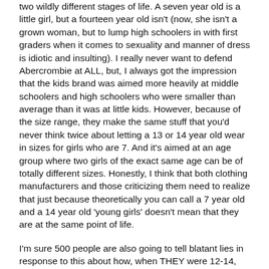two wildly different stages of life. A seven year old is a little girl, but a fourteen year old isn't (now, she isn't a grown woman, but to lump high schoolers in with first graders when it comes to sexuality and manner of dress is idiotic and insulting). I really never want to defend Abercrombie at ALL, but, I always got the impression that the kids brand was aimed more heavily at middle schoolers and high schoolers who were smaller than average than it was at little kids. However, because of the size range, they make the same stuff that you'd never think twice about letting a 13 or 14 year old wear in sizes for girls who are 7. And it's aimed at an age group where two girls of the exact same age can be of totally different sizes. Honestly, I think that both clothing manufacturers and those criticizing them need to realize that just because theoretically you can call a 7 year old and a 14 year old 'young girls' doesn't mean that they are at the same point of life.

I'm sure 500 people are also going to tell blatant lies in response to this about how, when THEY were 12-14, instead of caring about boys or clothes, they wore pigtails and played in the mud.